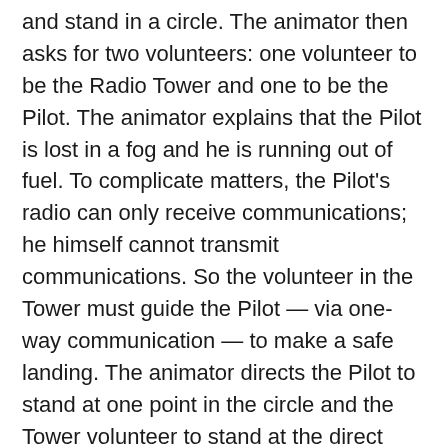and stand in a circle. The animator then asks for two volunteers: one volunteer to be the Radio Tower and one to be the Pilot. The animator explains that the Pilot is lost in a fog and he is running out of fuel. To complicate matters, the Pilot's radio can only receive communications; he himself cannot transmit communications. So the volunteer in the Tower must guide the Pilot — via one-way communication — to make a safe landing. The animator directs the Pilot to stand at one point in the circle and the Tower volunteer to stand at the direct opposite point. Someone blindfolds the Pilot.
The other participants now place obstacles on the floor between the Pilot and the Radio Tower. (The obstacle course should be made challenging but not impossible.) The Radio Tower must guide the Pilot around the obstacles. Meanwhile, the Pilot must “blindly” step forward, crossing the diameter of the circle to where the Radio Tower stands (thus, landing the plane safely). The rest of the group forms the perimeter circle within which the Pilot must navigate. They cannot move or speak during the game.